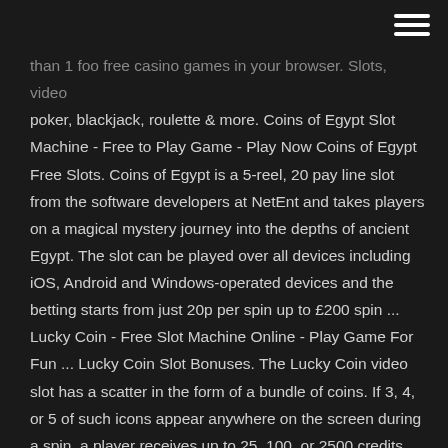than 1 foo free casino games in your browser. Slots, video poker, blackjack, roulette & more. Coins of Egypt Slot Machine - Free to Play Game - Play Now Coins of Egypt Free Slots. Coins of Egypt is a 5-reel, 20 pay line slot from the software developers at NetEnt and takes players on a magical mystery journey into the depths of ancient Egypt. The slot can be played over all devices including iOS, Android and Windows-operated devices and the betting starts from just 20p per spin up to £200 spin ... Lucky Coin - Free Slot Machine Online - Play Game For Fun ... Lucky Coin Slot Bonuses. The Lucky Coin video slot has a scatter in the form of a bundle of coins. If 3, 4, or 5 of such icons appear anywhere on the screen during a spin, a player receives up to 25, 100, or 2500 credits respectively. When there appear at least 3 scatter symbols on the reels, a gambler gets 15